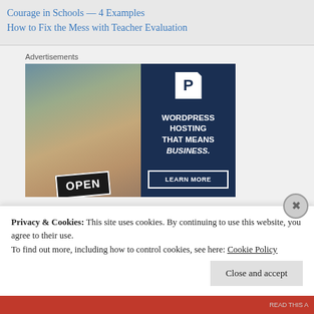Courage in Schools — 4 Examples
How to Fix the Mess with Teacher Evaluation
Advertisements
[Figure (screenshot): WordPress Hosting advertisement showing a woman holding an OPEN sign on the left side and dark navy background on the right with text 'WORDPRESS HOSTING THAT MEANS BUSINESS.' and a 'LEARN MORE' button]
Privacy & Cookies: This site uses cookies. By continuing to use this website, you agree to their use.
To find out more, including how to control cookies, see here: Cookie Policy
Close and accept